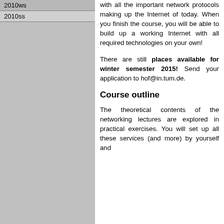2010ws
2010ss
with all the important network protocols making up the Internet of today. When you finish the course, you will be able to build up a working Internet with all required technologies on your own!
There are still places available for winter semester 2015! Send your application to hof@in.tum.de.
Course outline
The theoretical contents of the networking lectures are explored in practical exercises. You will set up all these services (and more) by yourself and